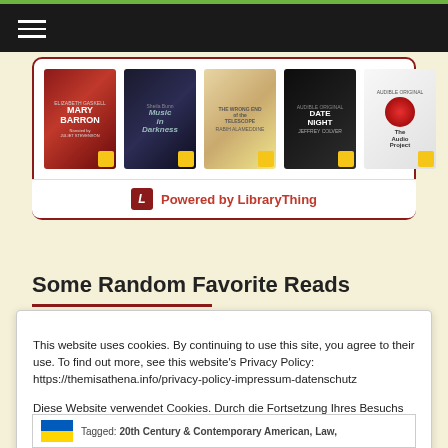[Figure (screenshot): Navigation bar with hamburger menu icon on dark background with green top bar]
[Figure (screenshot): Book widget showing 5 audiobook covers: Mary Barron, Music in the Dark, The Wrong End of the Telescope, Date Night, The Audio Project. Powered by LibraryThing logo at bottom.]
Some Random Favorite Reads
This website uses cookies. By continuing to use this site, you agree to their use. To find out more, see this website's Privacy Policy: https://themisathena.info/privacy-policy-impressum-datenschutz

Diese Website verwendet Cookies. Durch die Fortsetzung Ihres Besuchs stimmen Sie der Verwendung zu. Weitere Informationen finden Sie auf der Seite Impressum und Datenschutz: https://themisathena.info/privacy-policy-impressum-datenschutz Privacy & Cookie Policy
Close and accept
Tagged: 20th Century & Contemporary American, Law,